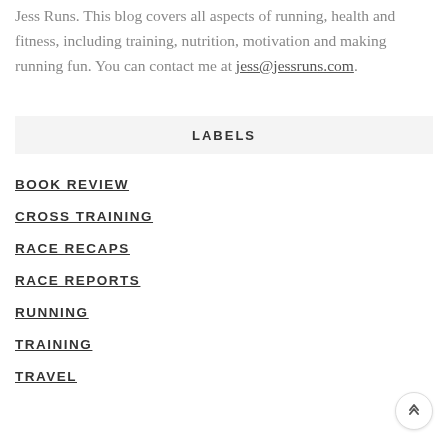Jess Runs. This blog covers all aspects of running, health and fitness, including training, nutrition, motivation and making running fun. You can contact me at jess@jessruns.com.
LABELS
BOOK REVIEW
CROSS TRAINING
RACE RECAPS
RACE REPORTS
RUNNING
TRAINING
TRAVEL